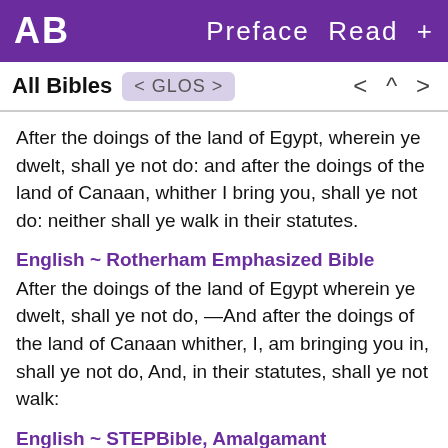AB   Preface  Read  +
All Bibles  < GLOS >   < ^ >
After the doings of the land of Egypt, wherein ye dwelt, shall ye not do: and after the doings of the land of Canaan, whither I bring you, shall ye not do: neither shall ye walk in their statutes.
English ~ Rotherham Emphasized Bible
After the doings of the land of Egypt wherein ye dwelt, shall ye not do, —And after the doings of the land of Canaan whither, I, am bringing you in, shall ye not do, And, in their statutes, shall ye not walk:
English ~ STEPBible, Amalgamant
like deed land [link] Egypt which to dwell [link] in her not to make and like deed land [link] Canaan which I to come (in) [obj] you there to not to make and in statute their not to go: